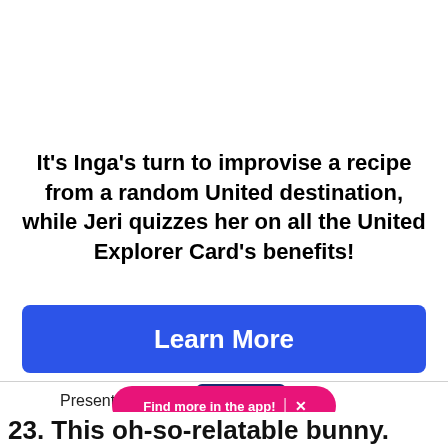It's Inga's turn to improvise a recipe from a random United destination, while Jeri quizzes her on all the United Explorer Card's benefits!
[Figure (other): Blue 'Learn More' button]
Presented By
[Figure (logo): United Explorer MileagePlus Visa card image]
[Figure (other): Pink pill-shaped app banner: 'Find more in the app!' with X close button]
23. This oh-so-relatable bunny.